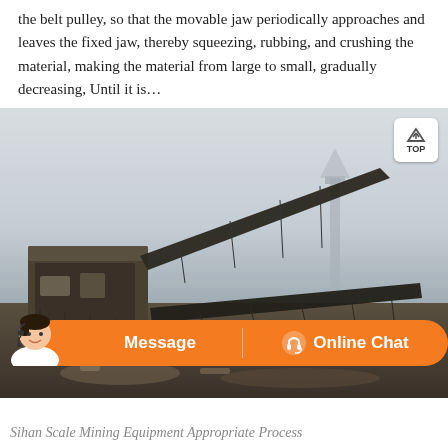the belt pulley, so that the movable jaw periodically approaches and leaves the fixed jaw, thereby squeezing, rubbing, and crushing the material, making the material from large to small, gradually decreasing, Until it is…
[Figure (photo): Industrial mining/crushing equipment with conveyor belts and steel framework, photographed outdoors in hazy conditions. A tall structure (mine headframe) is visible in the background.]
Sihan Scale Mining Equipment Appropriate Process